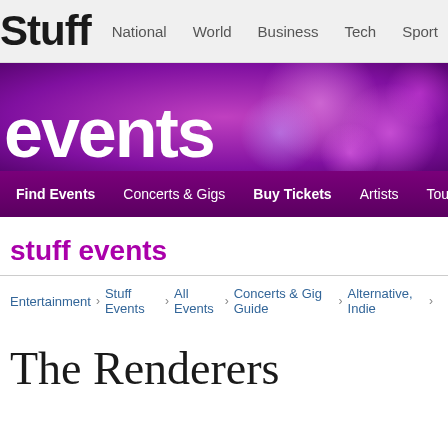Stuff | National | World | Business | Tech | Sport | Entertainment
[Figure (infographic): Purple bokeh events banner with text 'events']
Find Events | Concerts & Gigs | Buy Tickets | Artists | Tours | Venue
stuff events
Entertainment › Stuff Events › All Events › Concerts & Gig Guide › Alternative, Indie ›
The Renderers